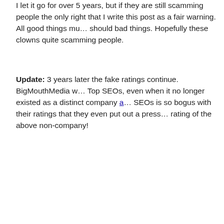I let it go for over 5 years, but if they are still scamming people the only right that I write this post as a fair warning. All good things must end, as should bad things. Hopefully these clowns quite scamming people.
Update: 3 years later the fake ratings continue. BigMouthMedia was listed on Top SEOs, even when it no longer existed as a distinct company and Top SEOs is so bogus with their ratings that they even put out a press release rating of the above non-company!